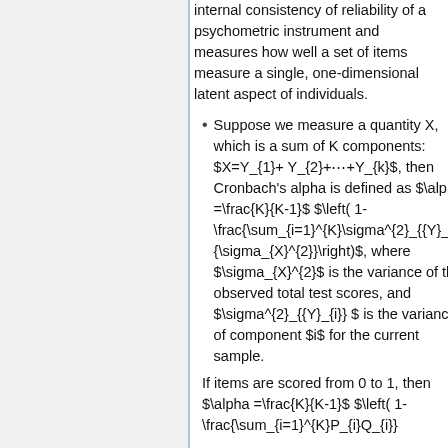internal consistency of reliability of a psychometric instrument and measures how well a set of items measure a single, one-dimensional latent aspect of individuals.
Suppose we measure a quantity X, which is a sum of K components: $X=Y_{1}+ Y_{2}+⋯+Y_{k}$, then Cronbach's alpha is defined as $\alpha =\frac{K}{K-1}$ $\left( 1-\frac{\sum_{i=1}^{K}\sigma^{2}_{{Y}_{i}}}{\sigma_{X}^{2}}\right)$, where $\sigma_{X}^{2}$ is the variance of the observed total test scores, and $\sigma^{2}_{{Y}_{i}} $ is the variance of component $i$ for the current sample.
If items are scored from 0 to 1, then $\alpha =\frac{K}{K-1}$ $\left( 1-\frac{\sum_{i=1}^{K}P_{i}Q_{i}}